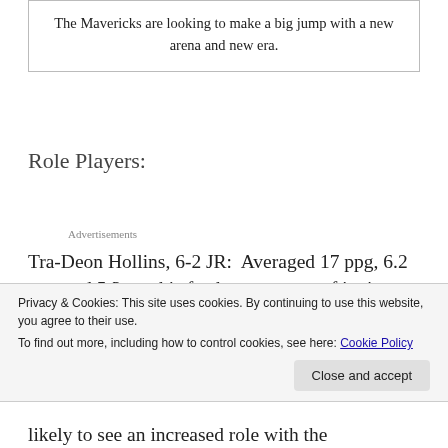The Mavericks are looking to make a big jump with a new arena and new era.
Role Players:
Advertisements
Tra-Deon Hollins, 6-2 JR:  Averaged 17 ppg, 6.2 rpg, and 5.3 apg his freshman season of junior college, he appears to be a little bit of everything, and can really help the Mavericks
Privacy & Cookies: This site uses cookies. By continuing to use this website, you agree to their use.
To find out more, including how to control cookies, see here: Cookie Policy
likely to see an increased role with the